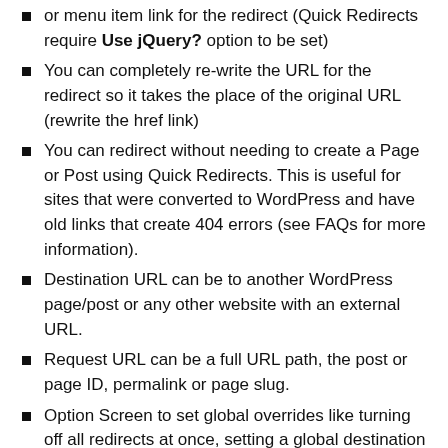or menu item link for the redirect (Quick Redirects require Use jQuery? option to be set)
You can completely re-write the URL for the redirect so it takes the place of the original URL (rewrite the href link)
You can redirect without needing to create a Page or Post using Quick Redirects. This is useful for sites that were converted to WordPress and have old links that create 404 errors (see FAQs for more information).
Destination URL can be to another WordPress page/post or any other website with an external URL.
Request URL can be a full URL path, the post or page ID, permalink or page slug.
Option Screen to set global overrides like turning off all redirects at once, setting a global destination link, make all redirects open in a new window, etc.